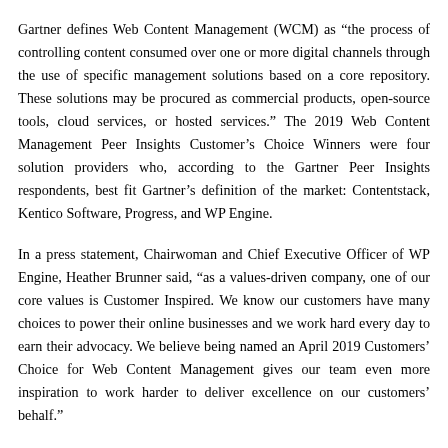Gartner defines Web Content Management (WCM) as “the process of controlling content consumed over one or more digital channels through the use of specific management solutions based on a core repository. These solutions may be procured as commercial products, open-source tools, cloud services, or hosted services.” The 2019 Web Content Management Peer Insights Customer’s Choice Winners were four solution providers who, according to the Gartner Peer Insights respondents, best fit Gartner’s definition of the market: Contentstack, Kentico Software, Progress, and WP Engine.
In a press statement, Chairwoman and Chief Executive Officer of WP Engine, Heather Brunner said, “as a values-driven company, one of our core values is Customer Inspired. We know our customers have many choices to power their online businesses and we work hard every day to earn their advocacy. We believe being named an April 2019 Customers’ Choice for Web Content Management gives our team even more inspiration to work harder to deliver excellence on our customers’ behalf.”